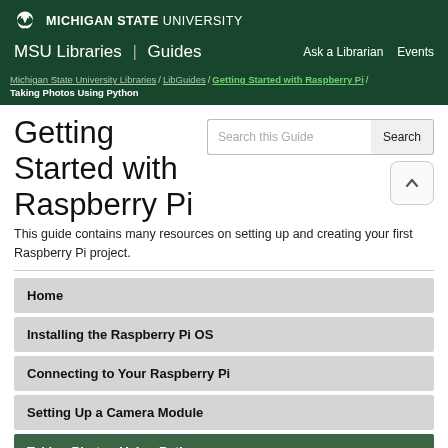MICHIGAN STATE UNIVERSITY
MSU Libraries | Guides    Ask a Librarian   Events
Michigan State University Libraries / LibGuides / Getting Started with Raspberry Pi / Taking Photos Using Python
Getting Started with Raspberry Pi
This guide contains many resources on setting up and creating your first Raspberry Pi project.
Home
Installing the Raspberry Pi OS
Connecting to Your Raspberry Pi
Setting Up a Camera Module
Taking Photos Using Python